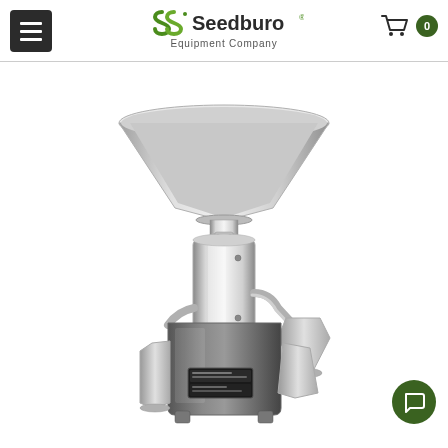Seedburo Equipment Company
[Figure (photo): Stainless steel grain divider / sample splitter machine with a wide conical funnel at the top, cylindrical body in the middle, and output chutes at the bottom. The machine is highly polished stainless steel with a dark base unit and a nameplate label. The background is white.]